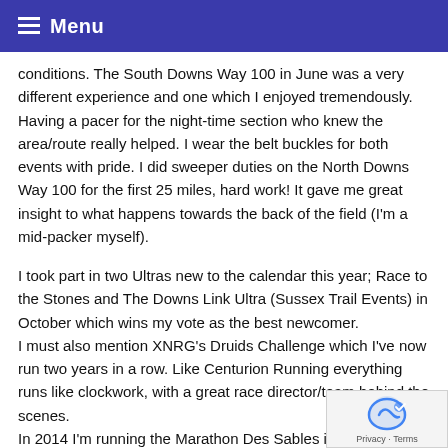Menu
conditions. The South Downs Way 100 in June was a very different experience and one which I enjoyed tremendously. Having a pacer for the night-time section who knew the area/route really helped. I wear the belt buckles for both events with pride. I did sweeper duties on the North Downs Way 100 for the first 25 miles, hard work! It gave me great insight to what happens towards the back of the field (I'm a mid-packer myself).
I took part in two Ultras new to the calendar this year; Race to the Stones and The Downs Link Ultra (Sussex Trail Events) in October which wins my vote as the best newcomer.
I must also mention XNRG's Druids Challenge which I've now run two years in a row. Like Centurion Running everything runs like clockwork, with a great race director/team behind the scenes.
In 2014 I'm running the Marathon Des Sables in April, and have my name in the hat for the UTMB with a backup plan of the T184 if unsuccessful.
I've meet some fantastic people during the year most of whi... now call my friends. What a great community Ultra runners a... Thank you for everyone's support and encouragement during the...